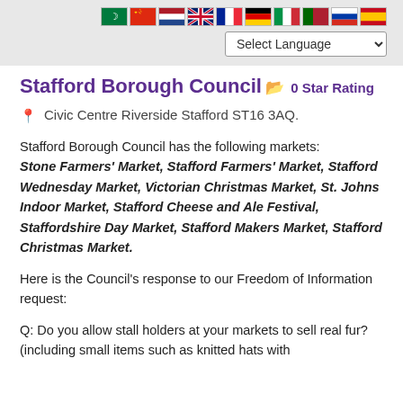Stafford Borough Council — language selector bar with flags
Stafford Borough Council
0 Star Rating
Civic Centre Riverside Stafford ST16 3AQ.
Stafford Borough Council has the following markets: Stone Farmers' Market, Stafford Farmers' Market, Stafford Wednesday Market, Victorian Christmas Market, St. Johns Indoor Market, Stafford Cheese and Ale Festival, Staffordshire Day Market, Stafford Makers Market, Stafford Christmas Market.
Here is the Council's response to our Freedom of Information request:
Q: Do you allow stall holders at your markets to sell real fur? (including small items such as knitted hats with